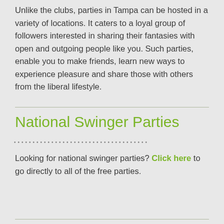Unlike the clubs, parties in Tampa can be hosted in a variety of locations. It caters to a loyal group of followers interested in sharing their fantasies with open and outgoing people like you. Such parties, enable you to make friends, learn new ways to experience pleasure and share those with others from the liberal lifestyle.
National Swinger Parties
Looking for national swinger parties? Click here to go directly to all of the free parties.